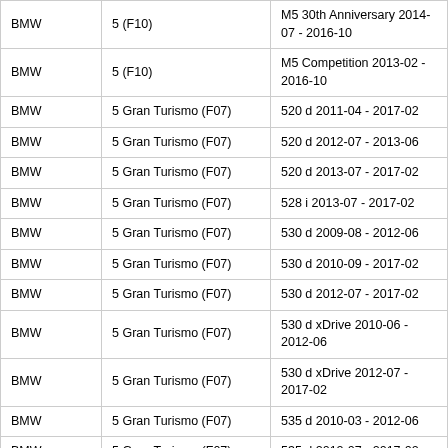| Make | Model | Variant |
| --- | --- | --- |
| BMW | 5 (F10) | M5 30th Anniversary 2014-07 - 2016-10 |
| BMW | 5 (F10) | M5 Competition 2013-02 - 2016-10 |
| BMW | 5 Gran Turismo (F07) | 520 d 2011-04 - 2017-02 |
| BMW | 5 Gran Turismo (F07) | 520 d 2012-07 - 2013-06 |
| BMW | 5 Gran Turismo (F07) | 520 d 2013-07 - 2017-02 |
| BMW | 5 Gran Turismo (F07) | 528 i 2013-07 - 2017-02 |
| BMW | 5 Gran Turismo (F07) | 530 d 2009-08 - 2012-06 |
| BMW | 5 Gran Turismo (F07) | 530 d 2010-09 - 2017-02 |
| BMW | 5 Gran Turismo (F07) | 530 d 2012-07 - 2017-02 |
| BMW | 5 Gran Turismo (F07) | 530 d xDrive 2010-06 - 2012-06 |
| BMW | 5 Gran Turismo (F07) | 530 d xDrive 2012-07 - 2017-02 |
| BMW | 5 Gran Turismo (F07) | 535 d 2010-03 - 2012-06 |
| BMW | 5 Gran Turismo (F07) | 535 d 2012-07 - 2017-02 |
| BMW | 5 Gran Turismo (F07) | 535 d xDrive 2010-03 - 2012-06 |
| BMW | 5 Gran Turismo (F07) | 535 d xDrive 2012-07 - 2017-02 |
| BMW | 5 Gran Turismo (F07) | 535 i 2009-01 - 2017-02 |
| BMW | 5 Gran Turismo (F07) | 535 i xDrive 2010-09 - 2017-02 |